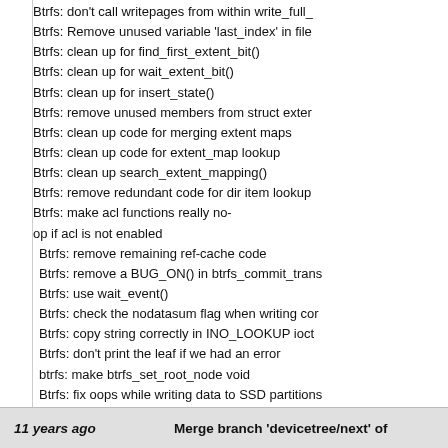Btrfs: don't call writepages from within write_full_
Btrfs: Remove unused variable 'last_index' in file
Btrfs: clean up for find_first_extent_bit()
Btrfs: clean up for wait_extent_bit()
Btrfs: clean up for insert_state()
Btrfs: remove unused members from struct exter
Btrfs: clean up code for merging extent maps
Btrfs: clean up code for extent_map lookup
Btrfs: clean up search_extent_mapping()
Btrfs: remove redundant code for dir item lookup
Btrfs: make acl functions really no-
op if acl is not enabled
Btrfs: remove remaining ref-cache code
Btrfs: remove a BUG_ON() in btrfs_commit_trans
Btrfs: use wait_event()
Btrfs: check the nodatasum flag when writing cor
Btrfs: copy string correctly in INO_LOOKUP ioctl
Btrfs: don't print the leaf if we had an error
btrfs: make btrfs_set_root_node void
Btrfs: fix oops while writing data to SSD partitions
Btrfs: Protect the readonly flag of block group
...
Fix up trivial conflicts (due to acl and writeback cle
 - fs/btrfs/acl.c
 - fs/btrfs/ctree.h
 - fs/btrfs/extent_io.c
11 years ago
Merge branch 'devicetree/next' of